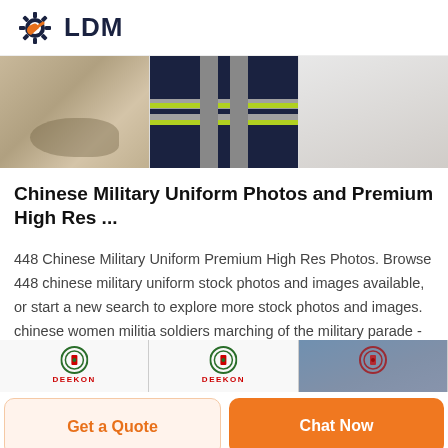[Figure (logo): LDM brand logo with gear and wrench icon in navy and orange, text LDM in bold navy]
[Figure (photo): Three product images: khaki fabric/hat, dark navy fabric with reflective stripes, black plastic hardware buckles]
Chinese Military Uniform Photos and Premium High Res ...
448 Chinese Military Uniform Premium High Res Photos. Browse 448 chinese military uniform stock photos and images available, or start a new search to explore more stock photos and images. chinese women militia soldiers marching of the military parade - chinese military uniform stock pictures, royalty-free photos & images.
[Figure (photo): Bottom product images with DEEKON logos: military hat, and fabric close-up]
Get a Quote
Chat Now